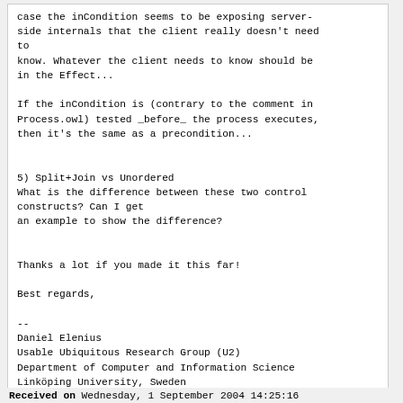case the inCondition seems to be exposing server-side internals that the client really doesn't need to
know. Whatever the client needs to know should be in the Effect...

If the inCondition is (contrary to the comment in Process.owl) tested _before_ the process executes, then it's the same as a precondition...


5) Split+Join vs Unordered
What is the difference between these two control constructs? Can I get
an example to show the difference?


Thanks a lot if you made it this far!

Best regards,

--
Daniel Elenius
Usable Ubiquitous Research Group (U2)
Department of Computer and Information Science
Linköping University, Sweden
Tel: +46 13 28 56 06, Fax: +46 13 142 231
Received on Wednesday, 1 September 2004 14:25:16